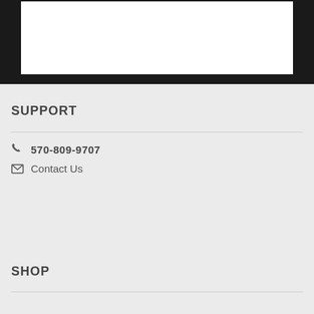[Figure (screenshot): Dark background area with a white rectangle overlay at the top of the page]
SUPPORT
570-809-9707
Contact Us
SHOP